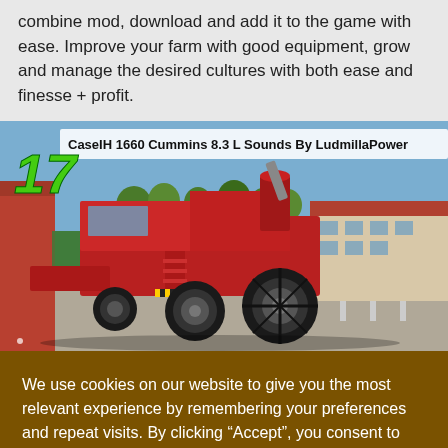combine mod, download and add it to the game with ease. Improve your farm with good equipment, grow and manage the desired cultures with both ease and finesse + profit.
[Figure (screenshot): Farming Simulator 17 game screenshot showing a red CaseIH 1660 combine harvester with text overlay: CaseIH 1660 Cummins 8.3 L Sounds By LudmillaPower. Number 17 in green italic font on top left.]
We use cookies on our website to give you the most relevant experience by remembering your preferences and repeat visits. By clicking “Accept”, you consent to the use of ALL the cookies.
Cookie settings
ACCEPT